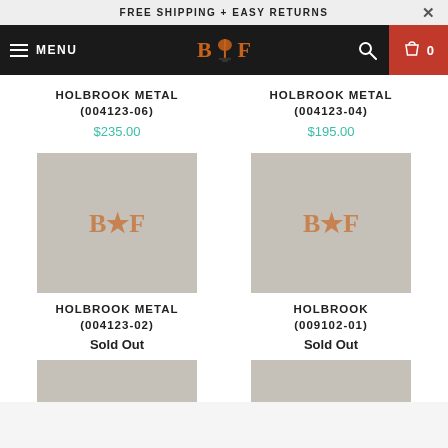FREE SHIPPING + EASY RETURNS
[Figure (screenshot): Website navigation bar with hamburger menu, BF logo, search icon, and cart showing 0 items]
HOLBROOK METAL (004123-06)
$235.00
HOLBROOK METAL (004123-04)
$195.00
[Figure (photo): Product image placeholder for HOLBROOK METAL 004123-02 with BF logo watermark]
[Figure (photo): Product image placeholder for HOLBROOK (009102-01) with BF logo watermark]
HOLBROOK METAL (004123-02)
Sold Out
HOLBROOK (009102-01)
Sold Out
[Figure (photo): Partial product image at bottom left]
[Figure (photo): Partial product image at bottom right]